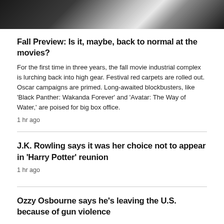[Figure (photo): Dark silhouette photograph strip, appears to show film reels or curved objects in shadow with a light background]
Fall Preview: Is it, maybe, back to normal at the movies?
For the first time in three years, the fall movie industrial complex is lurching back into high gear. Festival red carpets are rolled out. Oscar campaigns are primed. Long-awaited blockbusters, like 'Black Panther: Wakanda Forever' and 'Avatar: The Way of Water,' are poised for big box office.
1 hr ago
J.K. Rowling says it was her choice not to appear in 'Harry Potter' reunion
1 hr ago
Ozzy Osbourne says he's leaving the U.S. because of gun violence